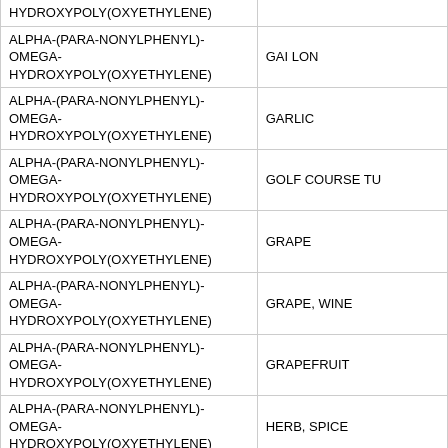| INGREDIENT | CROP/USE |
| --- | --- |
| HYDROXYPOLY(OXYETHYLENE) |  |
| ALPHA-(PARA-NONYLPHENYL)-OMEGA-HYDROXYPOLY(OXYETHYLENE) | GAI LON |
| ALPHA-(PARA-NONYLPHENYL)-OMEGA-HYDROXYPOLY(OXYETHYLENE) | GARLIC |
| ALPHA-(PARA-NONYLPHENYL)-OMEGA-HYDROXYPOLY(OXYETHYLENE) | GOLF COURSE TU |
| ALPHA-(PARA-NONYLPHENYL)-OMEGA-HYDROXYPOLY(OXYETHYLENE) | GRAPE |
| ALPHA-(PARA-NONYLPHENYL)-OMEGA-HYDROXYPOLY(OXYETHYLENE) | GRAPE, WINE |
| ALPHA-(PARA-NONYLPHENYL)-OMEGA-HYDROXYPOLY(OXYETHYLENE) | GRAPEFRUIT |
| ALPHA-(PARA-NONYLPHENYL)-OMEGA-HYDROXYPOLY(OXYETHYLENE) | HERB, SPICE |
| ALPHA-(PARA-NONYLPHENYL)-OMEGA-HYDROXYPOLY(OXYETHYLENE) | KALE |
| ALPHA-(PARA-NONYLPHENYL)-OMEGA-HYDROXYPOLY(OXYETHYLENE) | LANDSCAPE MAINTENANCE |